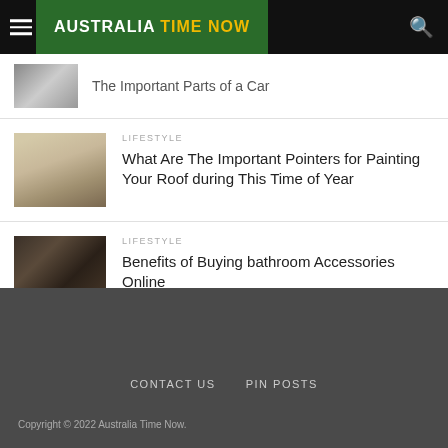AUSTRALIA TIME NOW
The Important Parts of a Car
LIFESTYLE
What Are The Important Pointers for Painting Your Roof during This Time of Year
LIFESTYLE
Benefits of Buying bathroom Accessories Online
CONTACT US  PIN POSTS
Copyright © 2022 Australia Time Now.